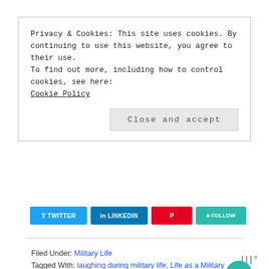Privacy & Cookies: This site uses cookies. By continuing to use this website, you agree to their use.
To find out more, including how to control cookies, see here:
Cookie Policy
Close and accept
[Figure (other): Social share buttons: Twitter, LinkedIn, Pinterest, Follow]
Filed Under: Military Life
Tagged With: laughing during military life, Life as a Military spouse
1
WHAT'S NEXT → The Waiting Military...
Top Posts!!!
14 Tips to Help You Survive Basic